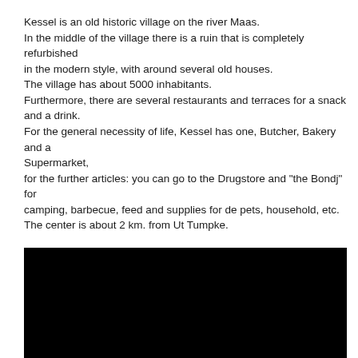Kessel is an old historic village on the river Maas.
In the middle of the village there is a ruin that is completely refurbished in the modern style, with around several old houses.
The village has about 5000 inhabitants.
Furthermore, there are several restaurants and terraces for a snack and a drink.
For the general necessity of life, Kessel has one, Butcher, Bakery and a Supermarket,
for the further articles: you can go to the Drugstore and "the Bondj" for camping, barbecue, feed and supplies for de pets, household, etc.
The center is about 2 km. from Ut Tumpke.
Kessel falls under the municipality of Peel en Maas, see the promo film below about Gemeente Peel en Maas.
[Figure (other): Black rectangle representing an embedded video player]